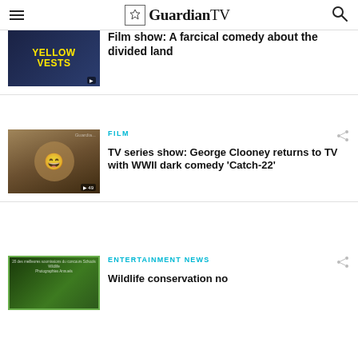GuardianTV
Film show: A farcical comedy about the divided land
FILM
TV series show: George Clooney returns to TV with WWII dark comedy 'Catch-22'
ENTERTAINMENT NEWS
Wildlife conservation no